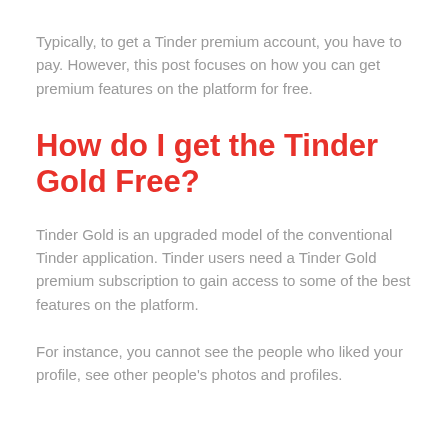Typically, to get a Tinder premium account, you have to pay. However, this post focuses on how you can get premium features on the platform for free.
How do I get the Tinder Gold Free?
Tinder Gold is an upgraded model of the conventional Tinder application. Tinder users need a Tinder Gold premium subscription to gain access to some of the best features on the platform.
For instance, you cannot see the people who liked your profile, see other people's photos and profiles.